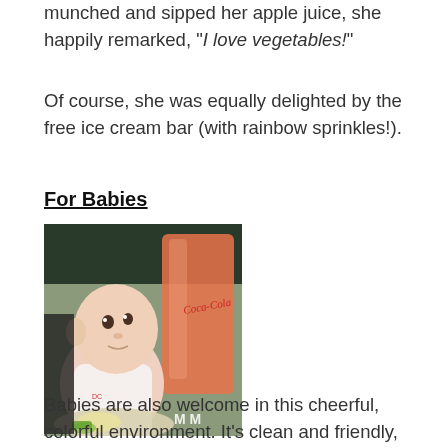munched and sipped her apple juice, she happily remarked, "I love vegetables!"
Of course, she was equally delighted by the free ice cream bar (with rainbow sprinkles!).
For Babies
[Figure (photo): A baby sitting at a restaurant table, looking up with wide eyes at a large Coca-Cola cup filled with an orange/pink drink. A plate of food is in the foreground. Watermark 'M M' in lower right corner.]
Babies are also welcome in this cheerful, colorful environment. It's clean and friendly, and if your baby